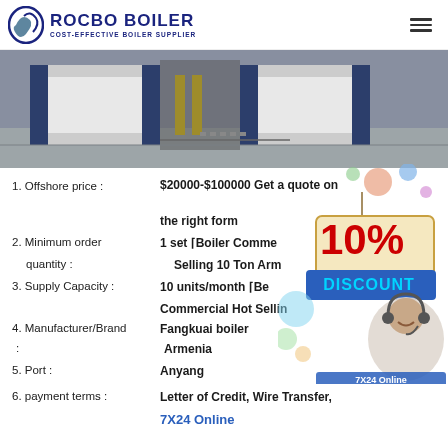ROCBO BOILER — COST-EFFECTIVE BOILER SUPPLIER
[Figure (photo): Industrial boiler units installed in a facility, dark blue/grey machines on concrete floor with yellow pipes]
1. Offshore price : $20000-$100000 Get a quote on the right form
2. Minimum order quantity : 1 set ⎡Boiler Commercial Selling 10 Ton Armenia
3. Supply Capacity : 10 units/month ⎡Boiler Commercial Hot Selling
4. Manufacturer/Brand : Fangkuai boiler Armenia
5. Port : Anyang
6. payment terms : Letter of Credit, Wire Transfer, 7X24 Online
[Figure (infographic): 10% DISCOUNT promotional badge with decorative balloons and a customer service agent with headset]